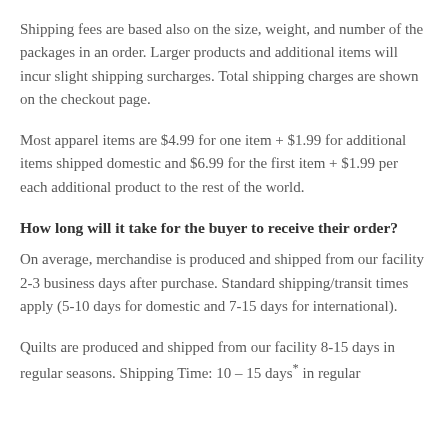Shipping fees are based also on the size, weight, and number of the packages in an order. Larger products and additional items will incur slight shipping surcharges. Total shipping charges are shown on the checkout page.
Most apparel items are $4.99 for one item + $1.99 for additional items shipped domestic and $6.99 for the first item + $1.99 per each additional product to the rest of the world.
How long will it take for the buyer to receive their order?
On average, merchandise is produced and shipped from our facility 2-3 business days after purchase. Standard shipping/transit times apply (5-10 days for domestic and 7-15 days for international).
Quilts are produced and shipped from our facility 8-15 days in regular seasons. Shipping Time: 10 – 15 days* in regular